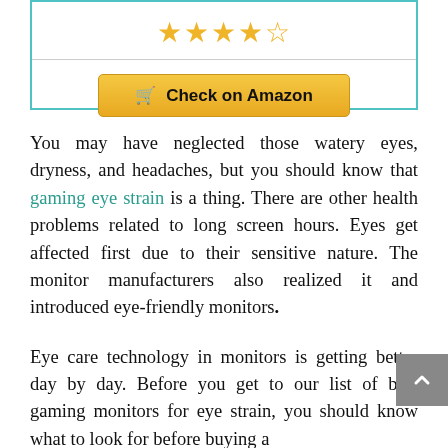[Figure (other): Star rating display showing 4.5 stars in gold/yellow, followed by a 'Check on Amazon' button with shopping cart icon on a golden background, inside a teal-bordered box]
You may have neglected those watery eyes, dryness, and headaches, but you should know that gaming eye strain is a thing. There are other health problems related to long screen hours. Eyes get affected first due to their sensitive nature. The monitor manufacturers also realized it and introduced eye-friendly monitors.
Eye care technology in monitors is getting better day by day. Before you get to our list of best gaming monitors for eye strain, you should know what to look for before buying a